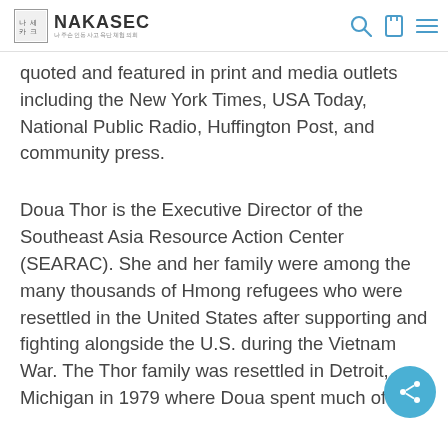NAKASEC
quoted and featured in print and media outlets including the New York Times, USA Today, National Public Radio, Huffington Post, and community press.
Doua Thor is the Executive Director of the Southeast Asia Resource Action Center (SEARAC). She and her family were among the many thousands of Hmong refugees who were resettled in the United States after supporting and fighting alongside the U.S. during the Vietnam War. The Thor family was resettled in Detroit, Michigan in 1979 where Doua spent much of her